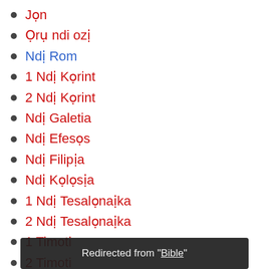Jọn
Ọrụ ndi ozị
Ndị Rom
1 Ndị Kọrint
2 Ndị Kọrint
Ndị Galetia
Ndị Efesọs
Ndị Filipịa
Ndị Kọlọsịa
1 Ndị Tesalọnaịka
2 Ndị Tesalọnaịka
1 Timoti
2 Timoti
Redirected from "Bible"